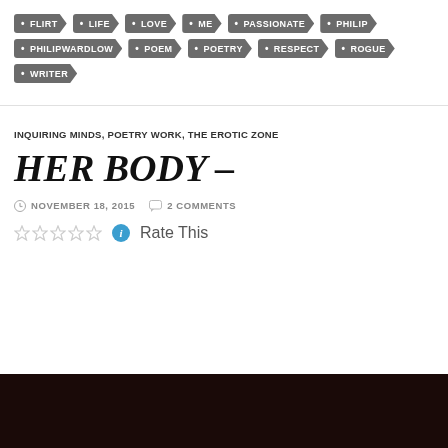FLIRT, LIFE, LOVE, ME, PASSIONATE, PHILIP, PHILIPWARDLOW, POEM, POETRY, RESPECT, ROGUE, WRITER
INQUIRING MINDS, POETRY WORK, THE EROTIC ZONE
HER BODY –
NOVEMBER 18, 2015  2 COMMENTS
Rate This
[Figure (photo): Dark reddish-brown abstract background image, nearly black]